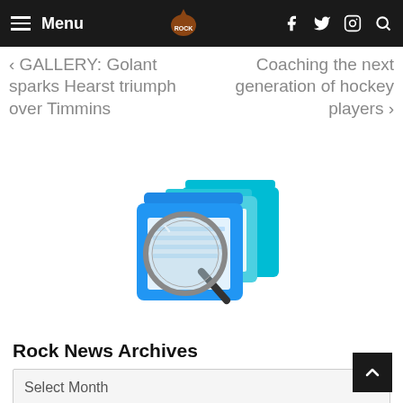Menu [hamburger icon] [Rock logo] [Facebook icon] [Twitter icon] [Instagram icon] [Search icon]
← GALLERY: Golant sparks Hearst triumph over Timmins
Coaching the next generation of hockey players →
[Figure (illustration): Illustration of blue file folders with a magnifying glass — representing archives/search]
Rock News Archives
Select Month (dropdown)